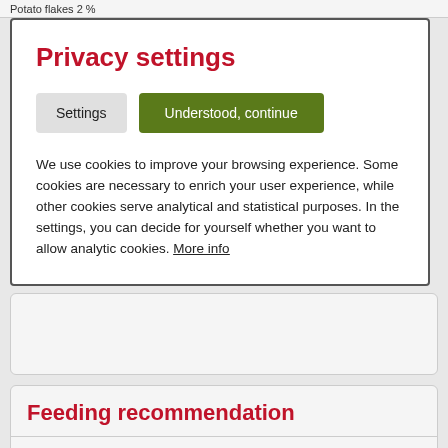Potato flakes 2 %
Privacy settings
Settings
Understood, continue
We use cookies to improve your browsing experience. Some cookies are necessary to enrich your user experience, while other cookies serve analytical and statistical purposes. In the settings, you can decide for yourself whether you want to allow analytic cookies. More info
Feeding recommendation
Serve according to the needs and the weight of the pet. As a guideline, Anifit recommends the addition